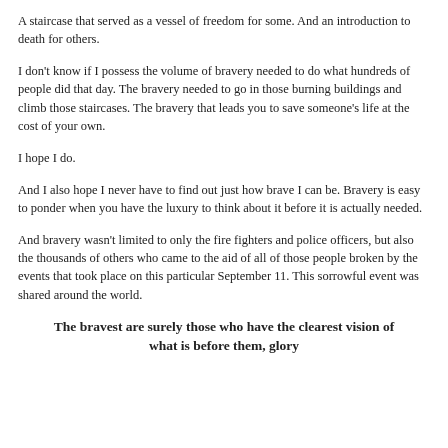A staircase that served as a vessel of freedom for some. And an introduction to death for others.
I don't know if I possess the volume of bravery needed to do what hundreds of people did that day. The bravery needed to go in those burning buildings and climb those staircases. The bravery that leads you to save someone's life at the cost of your own.
I hope I do.
And I also hope I never have to find out just how brave I can be. Bravery is easy to ponder when you have the luxury to think about it before it is actually needed.
And bravery wasn't limited to only the fire fighters and police officers, but also the thousands of others who came to the aid of all of those people broken by the events that took place on this particular September 11. This sorrowful event was shared around the world.
The bravest are surely those who have the clearest vision of what is before them, glory and danger alike, and yet notwithstanding, go out to meet it.